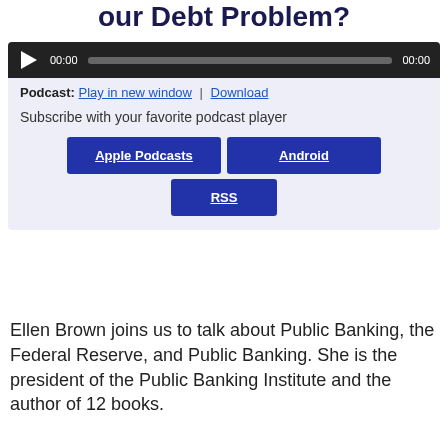our Debt Problem?
[Figure (screenshot): Audio player bar with play button, 00:00 timestamps, and progress bar on dark background]
Podcast: Play in new window | Download
Subscribe with your favorite podcast player
[Figure (infographic): Three dark blue podcast subscription buttons: Apple Podcasts, Android, and RSS]
Ellen Brown joins us to talk about Public Banking, the Federal Reserve, and Public Banking. She is the president of the Public Banking Institute and the author of 12 books.